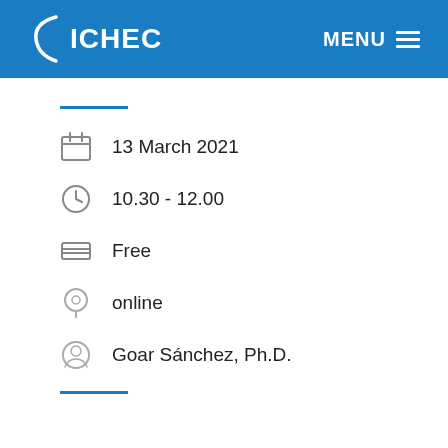ICHEC | MENU
13 March 2021
10.30 - 12.00
Free
online
Goar Sánchez, Ph.D.